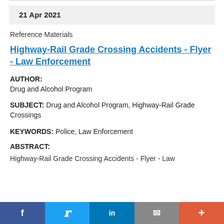21 Apr 2021
Reference Materials
Highway-Rail Grade Crossing Accidents - Flyer - Law Enforcement
AUTHOR: Drug and Alcohol Program
SUBJECT: Drug and Alcohol Program, Highway-Rail Grade Crossings
KEYWORDS: Police, Law Enforcement
ABSTRACT:
Highway-Rail Grade Crossing Accidents - Flyer - Law